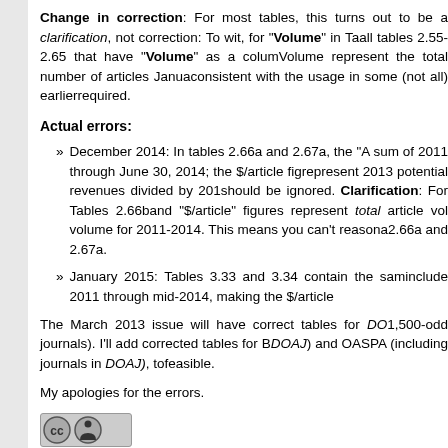Change in correction: For most tables, this turns out to be a clarification, not correction: To wit, for "Volume" in Ta... all tables 2.55-2.65 that have "Volume" as a column. Volume represent the total number of articles Janua... consistent with the usage in some (not all) earlier ... required.
Actual errors:
December 2014: In tables 2.66a and 2.67a, the "A... sum of 2011 through June 30, 2014; the $/article fig... represent 2013 potential revenues divided by 201... should be ignored. Clarification: For Tables 2.66b and "$/article" figures represent total article vol... volume for 2011-2014. This means you can't reasona... 2.66a and 2.67a.
January 2015: Tables 3.33 and 3.34 contain the sam... include 2011 through mid-2014, making the $/article...
The March 2013 issue will have correct tables for DO... 1,500-odd journals). I'll add corrected tables for B... DOAJ) and OASPA (including journals in DOAJ), to... feasible.
My apologies for the errors.
[Figure (logo): Creative Commons license logo with CC and person icons]